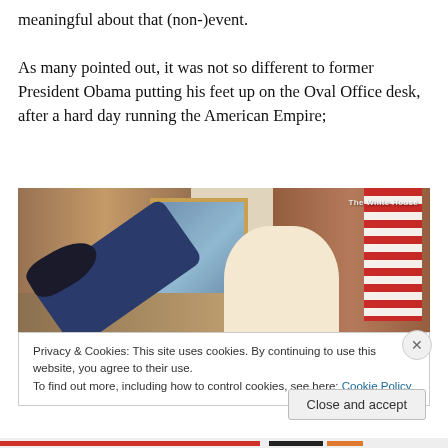meaningful about that (non-)event.

As many pointed out, it was not so different to former President Obama putting his feet up on the Oval Office desk, after a hard day running the American Empire;
[Figure (photo): Photo of President Obama sitting in a chair in the Oval Office with his feet up on the desk, smiling, with American flag and curtains visible in background. Watermark reads 'The White House'.]
Privacy & Cookies: This site uses cookies. By continuing to use this website, you agree to their use.
To find out more, including how to control cookies, see here: Cookie Policy